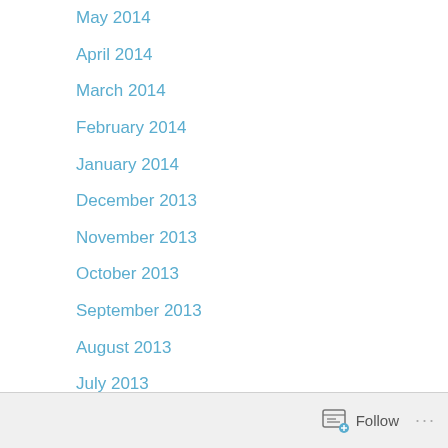May 2014
April 2014
March 2014
February 2014
January 2014
December 2013
November 2013
October 2013
September 2013
August 2013
July 2013
June 2013
May 2013
April 2013
March 2013
February 2013
January 2013
December 2012
Follow ...